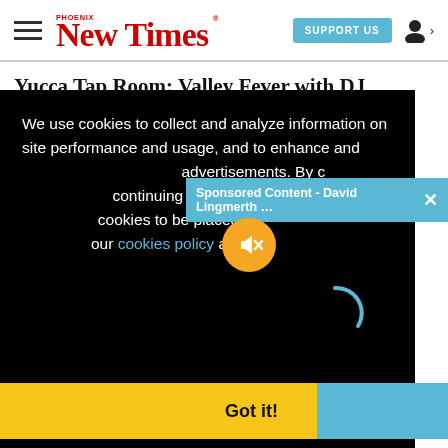Phoenix New Times — SUPPORT US — [user icon]
Yucca Tap Room: Valley Fever with DJ Johnny Volume, & DJ Dane...
[Figure (screenshot): Cookie consent overlay on Phoenix New Times website with text: We use cookies to collect and analyze information on site performance and usage, and to enhance and customize content and advertisements. By continuing to use the website, you consent to cookies to be placed on your device. You may view our cookies policy and privacy policy. A sponsored content bar reads 'Sponsored Content - David Lingmerth ...' with a close X button. A muted audio button (orange circle with mute icon) and a loading spinner arc are visible. A 'Got it!' button appears at the bottom.]
egaze,